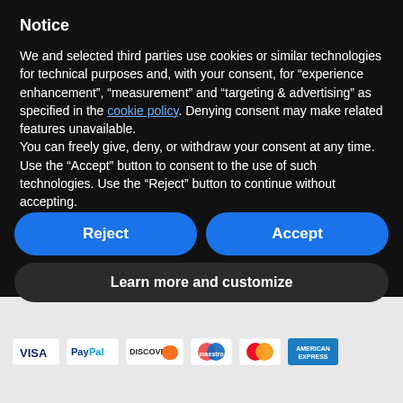Notice
We and selected third parties use cookies or similar technologies for technical purposes and, with your consent, for “experience enhancement”, “measurement” and “targeting & advertising” as specified in the cookie policy. Denying consent may make related features unavailable.
You can freely give, deny, or withdraw your consent at any time. Use the “Accept” button to consent to the use of such technologies. Use the “Reject” button to continue without accepting.
Reject
Accept
Learn more and customize
BOXLUM Copyright © 2019 • P.Iva IT 02682630732 | Powered by Ops
[Figure (logo): Payment method logos: VISA, PayPal, DISCOVER, Maestro, MasterCard, American Express]